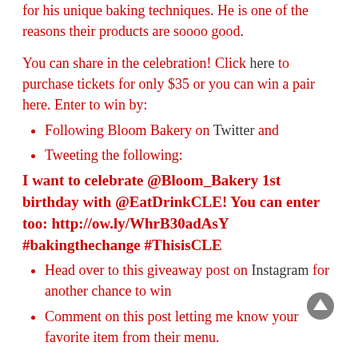for his unique baking techniques. He is one of the reasons their products are soooo good.
You can share in the celebration! Click here to purchase tickets for only $35 or you can win a pair here. Enter to win by:
Following Bloom Bakery on Twitter and
Tweeting the following:
I want to celebrate @Bloom_Bakery 1st birthday with @EatDrinkCLE! You can enter too: http://ow.ly/WhrB30adAsY #bakingthechange #ThisisCLE
Head over to this giveaway post on Instagram for another chance to win
Comment on this post letting me know your favorite item from their menu.
Winner will be chosen randomly Monday 3/27 and will have 24 hours to respond. Please make sure to leave